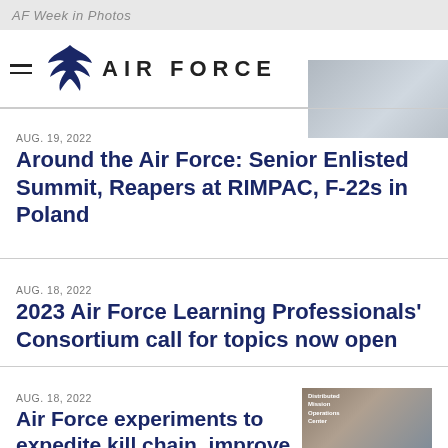AF Week in Photos
AUG. 19, 2022
Around the Air Force: Senior Enlisted Summit, Reapers at RIMPAC, F-22s in Poland
AUG. 18, 2022
2023 Air Force Learning Professionals' Consortium call for topics now open
AUG. 18, 2022
Air Force experiments to expedite kill chain, improve
[Figure (photo): Group photo of military personnel standing in front of a building labeled Distributed Mission Operations Center]